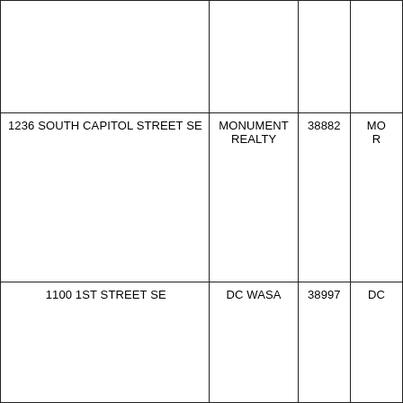|  |  |  |  |
| 1236 SOUTH CAPITOL STREET SE | MONUMENT REALTY | 38882 | MO R |
| 1100 1ST STREET SE | DC WASA | 38997 | DC |